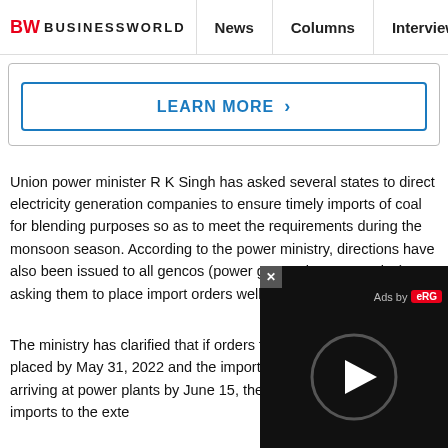BW BUSINESSWORLD | News | Columns | Interviews | BW
[Figure (screenshot): LEARN MORE button with blue border and right arrow, part of an advertisement box]
Union power minister R K Singh has asked several states to direct electricity generation companies to ensure timely imports of coal for blending purposes so as to meet the requirements during the monsoon season. According to the power ministry, directions have also been issued to all gencos (power generation companies) asking them to place import orders well in time.
The ministry has clarified that if orders for coal imports are not placed by May 31, 2022 and the imported fuel does not start arriving at power plants by June 15, the d... have to increase their imports to the exte...
The ministry had earlier advised state gen... cent of coal of their requirement for blend... were advised to place orders by May 31,... of 50 per cent quantity is ensured by June 30, 2022.
[Figure (screenshot): Video player overlay with dark background, close button (x), Ads by ERG label, and a play button circle in the center]